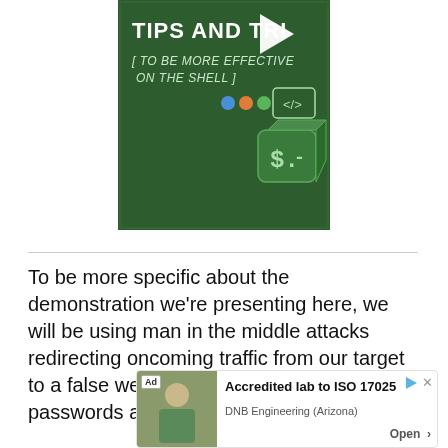[Figure (screenshot): Video thumbnail showing a green background with 'TIPS AND TRICKS [ TO BE MORE EFFECTIVE ON THE SHELL ]' text, a play button overlay, colored dots (blue, orange, green), a code icon, and a dollar-sign terminal icon]
To be more specific about the demonstration we're presenting here, we will be using man in the middle attacks redirecting oncoming traffic from our target to a false webpage and reveal WiFI passwords and usernames.
[Figure (screenshot): Advertisement bar: 'Ad' badge, photo of person, 'Accredited lab to ISO 17025', 'DNB Engineering (Arizona)', 'Open >' button, with play and close icons]